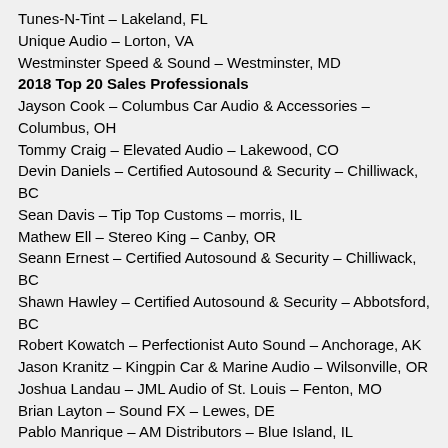Tunes-N-Tint – Lakeland, FL
Unique Audio – Lorton, VA
Westminster Speed & Sound – Westminster, MD
2018 Top 20 Sales Professionals
Jayson Cook – Columbus Car Audio & Accessories – Columbus, OH
Tommy Craig – Elevated Audio – Lakewood, CO
Devin Daniels – Certified Autosound & Security – Chilliwack, BC
Sean Davis – Tip Top Customs – morris, IL
Mathew Ell – Stereo King – Canby, OR
Seann Ernest – Certified Autosound & Security – Chilliwack, BC
Shawn Hawley – Certified Autosound & Security – Abbotsford, BC
Robert Kowatch – Perfectionist Auto Sound – Anchorage, AK
Jason Kranitz – Kingpin Car & Marine Audio – Wilsonville, OR
Joshua Landau – JML Audio of St. Louis – Fenton, MO
Brian Layton – Sound FX – Lewes, DE
Pablo Manrique – AM Distributors – Blue Island, IL
Corbin May – Visions Electronics – Grande Prairie, AB
Nick Pocklington – Certified Autosound & Security – Abbotsford, BC
Ruben Rivera-Arauz – SoundsGood Auto – Burnaby, BC
Cody Roehl – Lakes Audio – Baxter, MN
Chris Rossi – Tunes-N-Tint – Lakeland, FL
Amari Schwartz – Perfectionist Auto Sound – Anchorage, AK
Parish Tanner – Ocala Car Audio – Ocala, FL
Justin Wingfield – SoundsGood Auto – Coquitlam, BC
Mobile Electronics strives to grow the mobile electronics industry by supporting its retailers, salespeople, technicians and